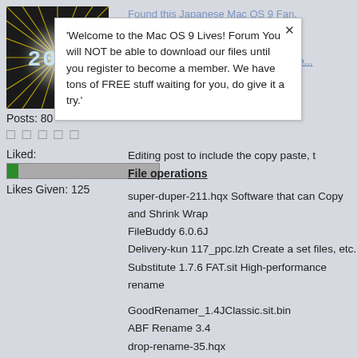[Figure (illustration): Avatar image showing '2059' text with radiating yellow/white light burst effect on dark background]
Posts: 80
□ □ □ □ □
Liked:
[Figure (infographic): Progress bar with small green section on left and gray fill on right]
Likes Given: 125
Found this Japanese Mac OS 9 Fan. description link. take a peek, especially in the: File ope... database
'Welcome to the Mac OS 9 Lives! Forum You will NOT be able to download our files until you register to become a member. We have tons of FREE stuff waiting for you, do give it a try.'
Editing post to include the copy paste, t
File operations
super-duper-211.hqx Software that can Copy and Shrink Wrap
FileBuddy 6.0.6J
Delivery-kun 117_ppc.lzh Create a set files, etc.
Substitute 1.7.6 FAT.sit High-performance rename
GoodRenamer_1.4JClassic.sit.bin
ABF Rename 3.4
drop-rename-35.hqx
numberinman13jp.sit.hqx
Backup / Sync
Tri-BACKUP 402 Easy to use